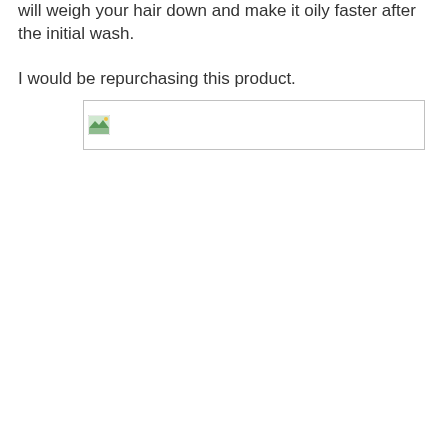will weigh your hair down and make it oily faster after the initial wash.
I would be repurchasing this product.
[Figure (other): Broken image placeholder icon in a rectangular bordered box]